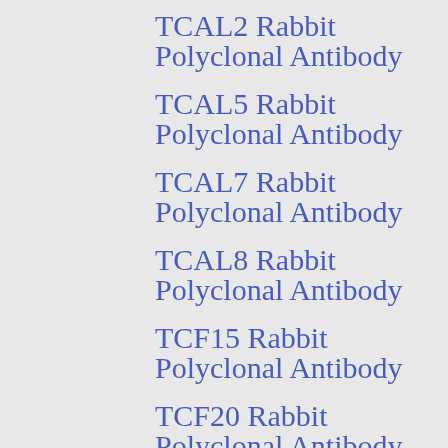TCAL2 Rabbit Polyclonal Antibody
TCAL5 Rabbit Polyclonal Antibody
TCAL7 Rabbit Polyclonal Antibody
TCAL8 Rabbit Polyclonal Antibody
TCF15 Rabbit Polyclonal Antibody
TCF20 Rabbit Polyclonal Antibody
TCF25 Rabbit Polyclonal Antibody
TCPG Rabbit Polyclonal Antibody
TELT Rabbit Polyclonal Antibody
TENN Rabbit Polyclonal Antibody
TGM4 Rabbit Polyclonal Antibody
THBG Rabbit Polyclonal Antibody
TIG3 Rabbit Polyclonal Antibody